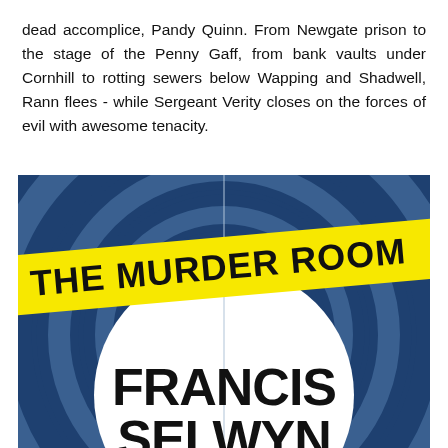dead accomplice, Pandy Quinn. From Newgate prison to the stage of the Penny Gaff, from bank vaults under Cornhill to rotting sewers below Wapping and Shadwell, Rann flees - while Sergeant Verity closes on the forces of evil with awesome tenacity.
[Figure (illustration): Book cover of 'The Murder Room' by Francis Selwyn. Dark navy blue background with concentric target/bullseye circles in lighter blue-grey. A yellow diagonal crime scene tape banner across the upper portion reads 'THE MURDER ROOM' in bold black text. At the bottom, large bold black text reads 'FRANCIS SELWYN' with a white circular center on the target design.]